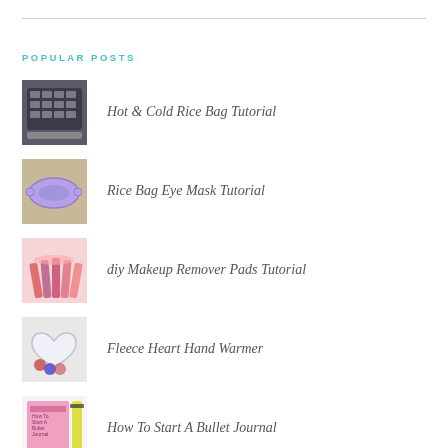POPULAR POSTS
Hot & Cold Rice Bag Tutorial
Rice Bag Eye Mask Tutorial
diy Makeup Remover Pads Tutorial
Fleece Heart Hand Warmer
How To Start A Bullet Journal